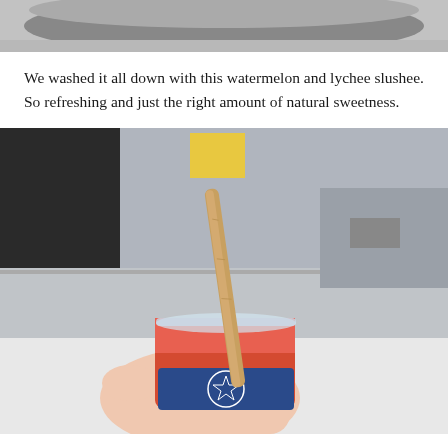[Figure (photo): Top portion of a partially visible photo, appears to show a dark round object against a light background.]
We washed it all down with this watermelon and lychee slushee. So refreshing and just the right amount of natural sweetness.
[Figure (photo): A hand holds a clear plastic cup containing a pink/orange watermelon and lychee slushee drink with a bamboo straw, in front of a cafe counter with stainless steel equipment and a person in black clothing in the background.]